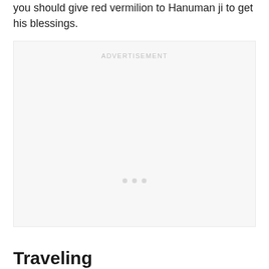you should give red vermilion to Hanuman ji to get his blessings.
[Figure (other): Advertisement placeholder box with label ADVERTISEMENT and three dots in the center]
Traveling